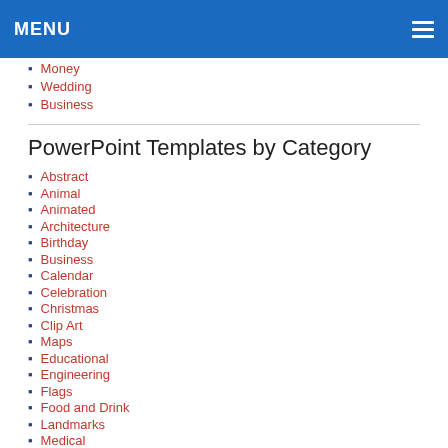MENU
Money
Wedding
Business
PowerPoint Templates by Category
Abstract
Animal
Animated
Architecture
Birthday
Business
Calendar
Celebration
Christmas
Clip Art
Maps
Educational
Engineering
Flags
Food and Drink
Landmarks
Medical